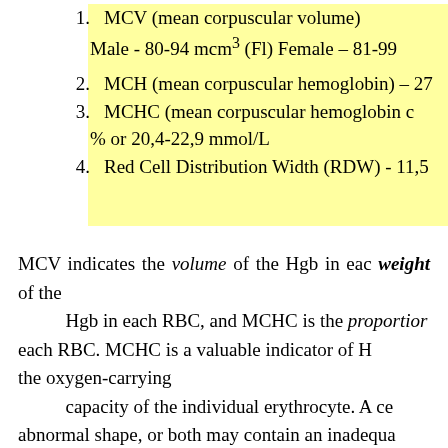1. MCV (mean corpuscular volume)
Male - 80-94 mcm³ (Fl) Female – 81-99
2. MCH (mean corpuscular hemoglobin) – 27
3. MCHC (mean corpuscular hemoglobin c % or 20,4-22,9 mmol/L
4. Red Cell Distribution Width (RDW) - 11,5
MCV indicates the volume of the Hgb in each weight of the Hgb in each RBC, and MCHC is the proportion each RBC. MCHC is a valuable indicator of H the oxygen-carrying capacity of the individual erythrocyte. A ce abnormal shape, or both may contain an inadequa RBC indices are used mainly in identifying and